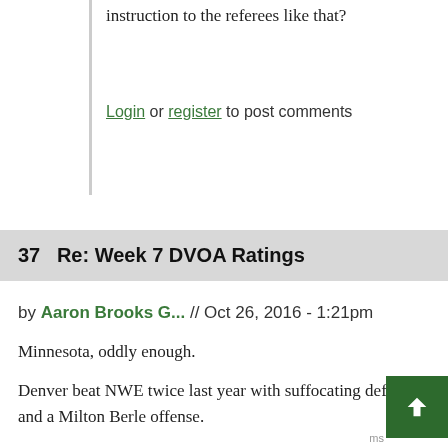instruction to the referees like that?
Login or register to post comments
37   Re: Week 7 DVOA Ratings
by Aaron Brooks G... // Oct 26, 2016 - 1:21pm
Minnesota, oddly enough.
Denver beat NWE twice last year with suffocating defense and a Milton Berle offense.
If Minnesota can avoid letting their history psyche themselves out, they have a decent chance.